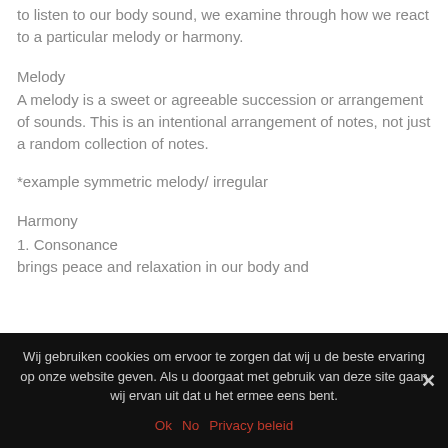to listen to our body sound, we examine through how we react to a particular melody or harmony.
Melody
A melody is a sweet or agreeable succession or arrangement of sounds. This is an intentional arrangement of notes, not just a random collection of notes.
*example symmetric melody/ irregular
Harmony
1. Consonance
brings peace and relaxation in our body and
Wij gebruiken cookies om ervoor te zorgen dat wij u de beste ervaring op onze website geven. Als u doorgaat met gebruik van deze site gaan wij ervan uit dat u het ermee eens bent.
Ok   No   Privacy beleid